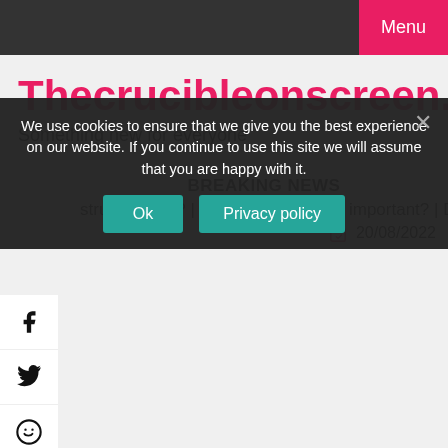Menu
Thecrucibleonscreen.com
Something new for everyone
BREAKING NEWS
structive role?  |  Why is research so important?  |  Did Achill
20/08/2022
We use cookies to ensure that we give you the best experience on our website. If you continue to use this site we will assume that you are happy with it.
Ok  Privacy policy